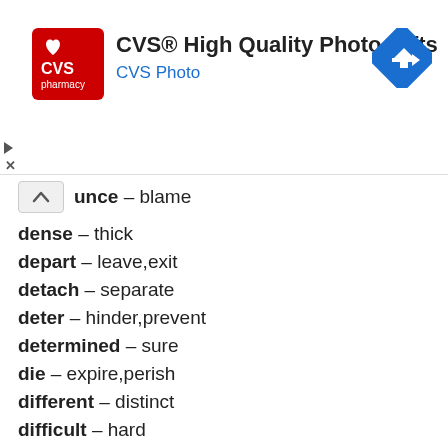[Figure (logo): CVS Pharmacy advertisement banner with logo and navigation arrow]
unce – blame
dense – thick
depart – leave,exit
detach – separate
deter – hinder,prevent
determined – sure
die – expire,perish
different – distinct
difficult – hard
dilute – weaken
drab – dull
drastic – severe
dreadful – terrible